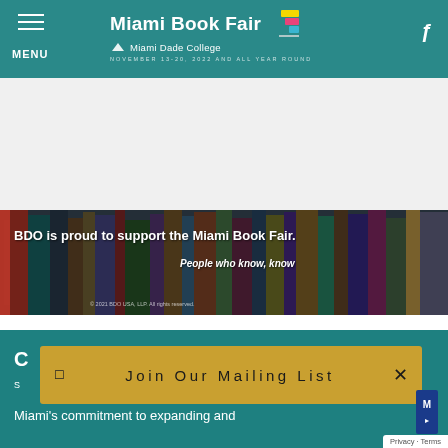[Figure (screenshot): Miami Book Fair website header with teal background, hamburger menu on left, Miami Book Fair logo with Miami Dade College branding in center, search icon on right]
[Figure (photo): White content box placeholder area below header navigation]
[Figure (photo): BDO advertisement banner showing books on a shelf with text 'BDO is proud to support the Miami Book Fair. People who know, know' and copyright '2021 BDO USA, LLP. All rights reserved.']
BDO is proud to support the Miami Book Fair.
People who know, know
© 2021 BDO USA, LLP. All rights reserved.
[Figure (screenshot): Teal footer section with 'Join Our Mailing List' popup overlay in golden/amber color with close X button]
Join Our Mailing List
Miami's commitment to expanding and